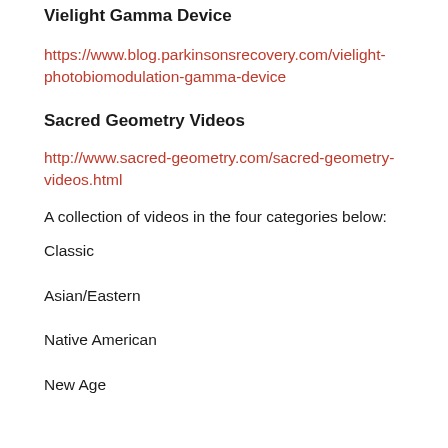Vielight Gamma Device
https://www.blog.parkinsonsrecovery.com/vielight-photobiomodulation-gamma-device
Sacred Geometry Videos
http://www.sacred-geometry.com/sacred-geometry-videos.html
A collection of videos in the four categories below:
Classic
Asian/Eastern
Native American
New Age